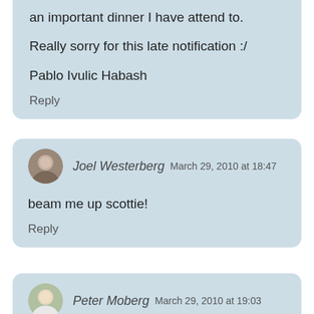an important dinner I have attend to.

Really sorry for this late notification :/

Pablo Ivulic Habash
Reply
Joel Westerberg  March 29, 2010 at 18:47
beam me up scottie!
Reply
Peter Moberg  March 29, 2010 at 19:03
Sorry for the super late respose, but i will not be able to make it tonight